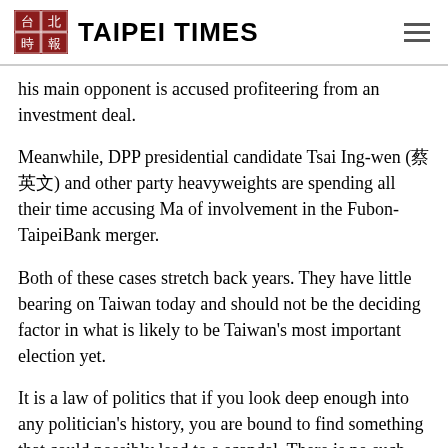TAIPEI TIMES
his main opponent is accused profiteering from an investment deal.
Meanwhile, DPP presidential candidate Tsai Ing-wen (蔡英文) and other party heavyweights are spending all their time accusing Ma of involvement in the Fubon-TaipeiBank merger.
Both of these cases stretch back years. They have little bearing on Taiwan today and should not be the deciding factor in what is likely to be Taiwan's most important election yet.
It is a law of politics that if you look deep enough into any politician's history, you are bound to find something that could possibly lead to a scandal. There is no such thing as a politician who has never gotten their hands dirty. If a